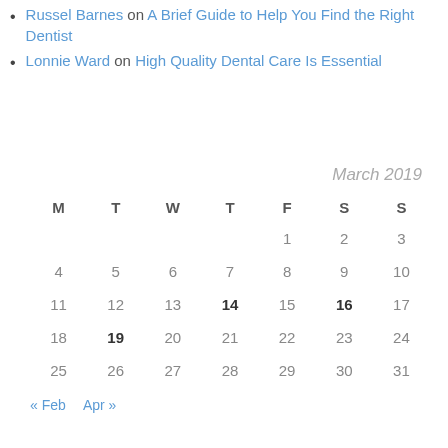Russel Barnes on A Brief Guide to Help You Find the Right Dentist
Lonnie Ward on High Quality Dental Care Is Essential
| M | T | W | T | F | S | S |
| --- | --- | --- | --- | --- | --- | --- |
|  |  |  |  | 1 | 2 | 3 |
| 4 | 5 | 6 | 7 | 8 | 9 | 10 |
| 11 | 12 | 13 | 14 | 15 | 16 | 17 |
| 18 | 19 | 20 | 21 | 22 | 23 | 24 |
| 25 | 26 | 27 | 28 | 29 | 30 | 31 |
« Feb  Apr »